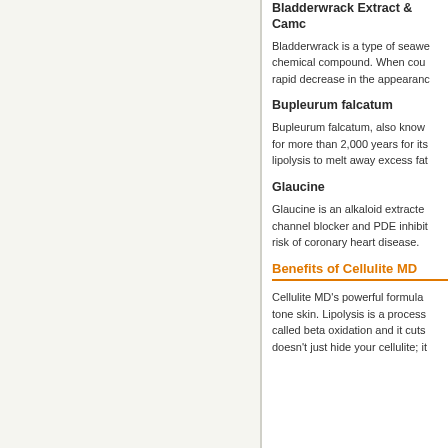Bladderwrack Extract & Camc...
Bladderwrack is a type of seawe... chemical compound. When cou... rapid decrease in the appearanc...
Bupleurum falcatum
Bupleurum falcatum, also know... for more than 2,000 years for its... lipolysis to melt away excess fat...
Glaucine
Glaucine is an alkaloid extracted... channel blocker and PDE inhibit... risk of coronary heart disease.
Benefits of Cellulite MD
Cellulite MD's powerful formula... tone skin. Lipolysis is a process... called beta oxidation and it cuts... doesn't just hide your cellulite; it...